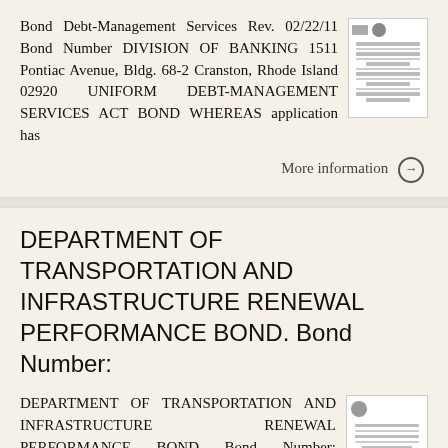Bond Debt-Management Services Rev. 02/22/11 Bond Number DIVISION OF BANKING 1511 Pontiac Avenue, Bldg. 68-2 Cranston, Rhode Island 02920 UNIFORM DEBT-MANAGEMENT SERVICES ACT BOND WHEREAS application has
[Figure (other): Thumbnail preview of a document page showing text lines]
More information →
DEPARTMENT OF TRANSPORTATION AND INFRASTRUCTURE RENEWAL PERFORMANCE BOND. Bond Number:
DEPARTMENT OF TRANSPORTATION AND INFRASTRUCTURE RENEWAL PERFORMANCE BOND Bond Number: Contract Number: Amount: $ KNOW ALL PERSONS BY THESE PRESENTS, that we, as Principal (Contractor (hereinafter called
[Figure (other): Thumbnail preview of a document page with a seal and text lines]
More information →